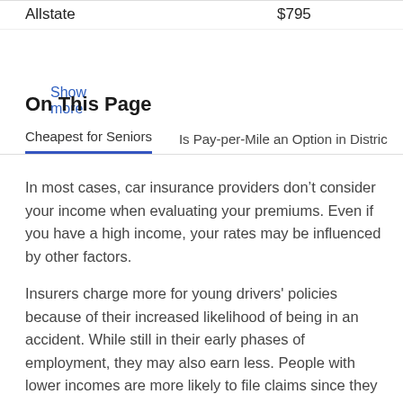|  |  |
| --- | --- |
| Allstate | $795 |
Show more
On This Page
Cheapest for Seniors
Is Pay-per-Mile an Option in Distric
In most cases, car insurance providers don’t consider your income when evaluating your premiums. Even if you have a high income, your rates may be influenced by other factors.
Insurers charge more for young drivers' policies because of their increased likelihood of being in an accident. While still in their early phases of employment, they may also earn less. People with lower incomes are more likely to file claims since they lack the funds to pay for repairs on their own. Car insurance premiums are higher for drivers who have